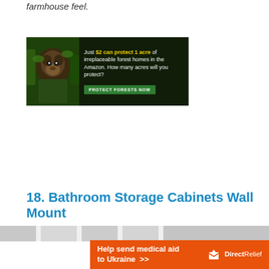farmhouse feel.
[Figure (photo): Advertisement banner for Amazon forest protection. Dark green background with monkey image on left. Text: 'Just $2 can protect 1 acre of irreplaceable forest homes in the Amazon. How many acres will you protect?' with a green 'PROTECT FORESTS NOW' button.]
18. Bathroom Storage Cabinets Wall Mount
[Figure (photo): Partial view of bathroom storage cabinet images at the bottom of the page.]
[Figure (infographic): Advertisement banner: 'Help send medical aid to Ukraine >>' with Direct Relief logo on orange background.]